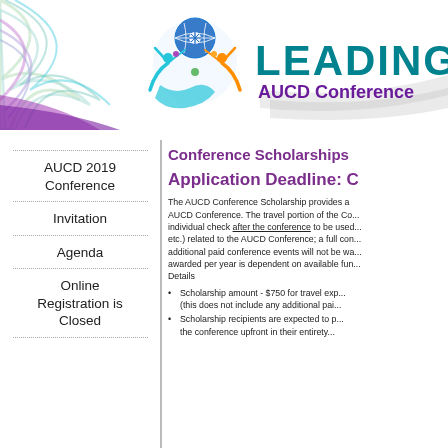[Figure (logo): AUCD 2019 Conference header banner with decorative colorful ribbon design on left, circular logo with human figures and globe in center, and large teal text reading 'LEADING' with purple 'AUCD Conference' below on right]
AUCD 2019 Conference
Invitation
Agenda
Online Registration is Closed
Conference Scholarships
Application Deadline: C
The AUCD Conference Scholarship provides a... AUCD Conference. The travel portion of the Co... individual check after the conference to be used... etc.) related to the AUCD Conference; a full con... additional paid conference events will not be wa... awarded per year is dependent on available fun... Details
Scholarship amount - $750 for travel exp... (this does not include any additional pai...
Scholarship recipients are expected to p... the conference upfront in their entirety...